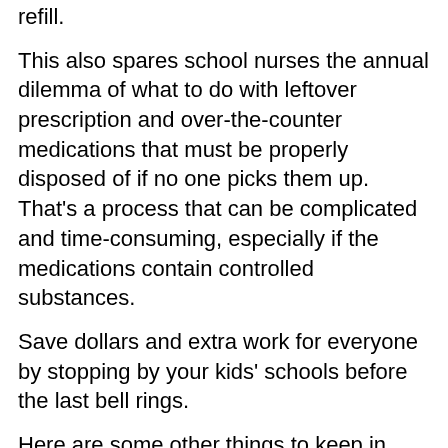refill.
This also spares school nurses the annual dilemma of what to do with leftover prescription and over-the-counter medications that must be properly disposed of if no one picks them up. That’s a process that can be complicated and time-consuming, especially if the medications contain controlled substances.
Save dollars and extra work for everyone by stopping by your kids’ schools before the last bell rings.
Here are some other things to keep in mind as the school year draws to a close:
Return school property, such as library books, textbooks, sporting equipment, and electronic devices.
Review next year’s course schedule and report any errors, so the school has plenty of time to make changes, if necessary.